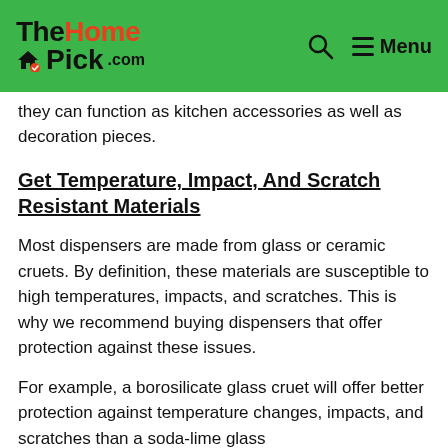TheHomePick.com | Menu
they can function as kitchen accessories as well as decoration pieces.
Get Temperature, Impact, And Scratch Resistant Materials
Most dispensers are made from glass or ceramic cruets. By definition, these materials are susceptible to high temperatures, impacts, and scratches. This is why we recommend buying dispensers that offer protection against these issues.
For example, a borosilicate glass cruet will offer better protection against temperature changes, impacts, and scratches than a soda-lime glass